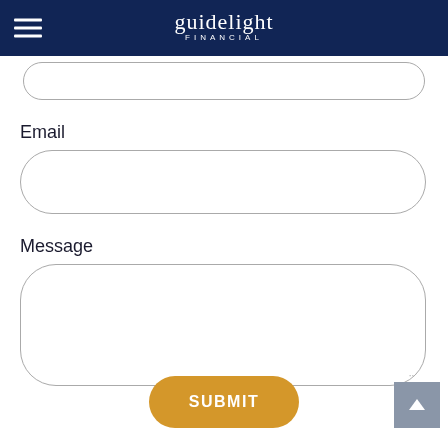guidelight FINANCIAL
Email
Message
SUBMIT